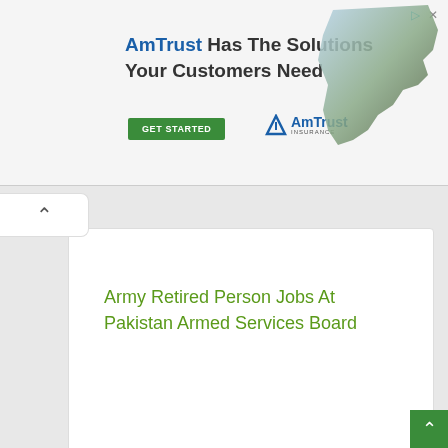[Figure (screenshot): AmTrust insurance advertisement banner with text 'AmTrust Has The Solutions Your Customers Need', a GET STARTED button, AmTrust Insurance logo, and a map graphic]
[Figure (illustration): Scroll-up chevron button on left side]
Army Retired Person Jobs At Pakistan Armed Services Board
[Figure (illustration): Comic/manga style image with text 'PRINCE CALL ME...?' and other dialogue]
[Figure (illustration): Round avatar of anime-style female character in traditional costume]